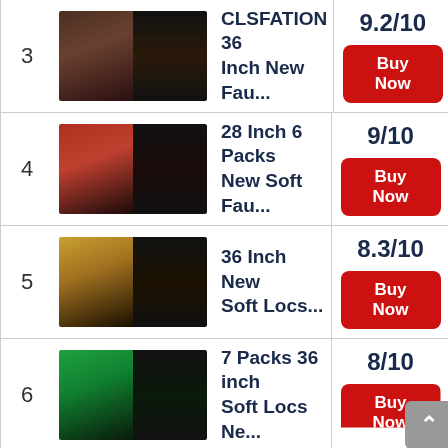3 | CLSFATION 36 Inch New Fau... | 9.2/10 | Buy Now
4 | 28 Inch 6 Packs New Soft Fau... | 9/10 | Buy Now
5 | 36 Inch New Soft Locs... | 8.3/10 | Buy Now
6 | 7 Packs 36 inch Soft Locs Ne... | 8/10 | Buy Now